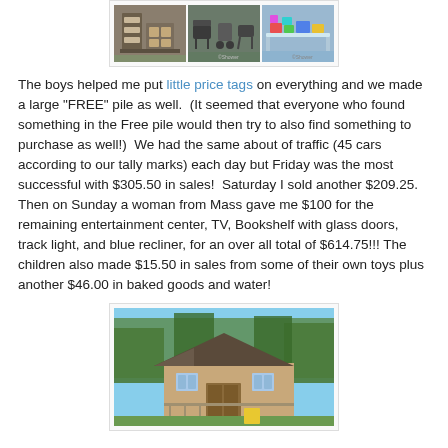[Figure (photo): Three photos side by side showing yard sale items: furniture/shelving units, folding chairs/strollers, and a table of colorful items]
The boys helped me put little price tags on everything and we made a large "FREE" pile as well.  (It seemed that everyone who found something in the Free pile would then try to also find something to purchase as well!)  We had the same about of traffic (45 cars according to our tally marks) each day but Friday was the most successful with $305.50 in sales!  Saturday I sold another $209.25. Then on Sunday a woman from Mass gave me $100 for the remaining entertainment center, TV, Bookshelf with glass doors, track light, and blue recliner, for an over all total of $614.75!!! The children also made $15.50 in sales from some of their own toys plus another $46.00 in baked goods and water!
[Figure (photo): Photo of a house with trees in the background, a porch visible]